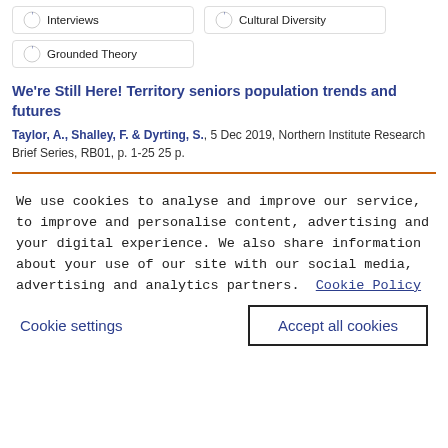Interviews
Cultural Diversity
Grounded Theory
We're Still Here! Territory seniors population trends and futures
Taylor, A., Shalley, F. & Dyrting, S., 5 Dec 2019, Northern Institute Research Brief Series, RB01, p. 1-25 25 p.
We use cookies to analyse and improve our service, to improve and personalise content, advertising and your digital experience. We also share information about your use of our site with our social media, advertising and analytics partners.  Cookie Policy
Cookie settings
Accept all cookies